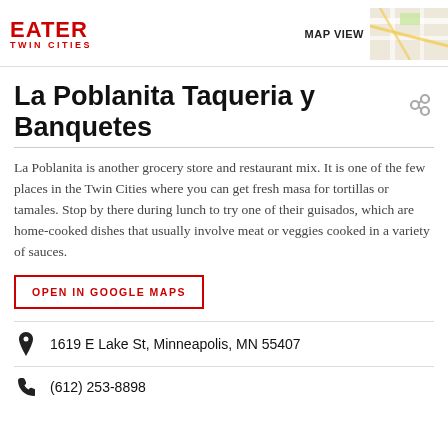EATER TWIN CITIES
[Figure (map): Small map thumbnail in upper right corner with MAP VIEW label]
La Poblanita Taqueria y Banquetes
La Poblanita is another grocery store and restaurant mix. It is one of the few places in the Twin Cities where you can get fresh masa for tortillas or tamales. Stop by there during lunch to try one of their guisados, which are home-cooked dishes that usually involve meat or veggies cooked in a variety of sauces.
OPEN IN GOOGLE MAPS
1619 E Lake St, Minneapolis, MN 55407
(612) 253-8898